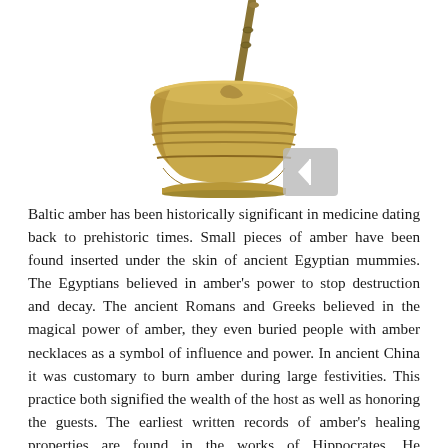[Figure (photo): A brass mortar and pestle on a white background, viewed from a slightly elevated angle. The mortar is a short, wide, ribbed bronze/brass vessel. The pestle is slender with a knobbed end, resting inside the mortar.]
Baltic amber has been historically significant in medicine dating back to prehistoric times. Small pieces of amber have been found inserted under the skin of ancient Egyptian mummies. The Egyptians believed in amber's power to stop destruction and decay. The ancient Romans and Greeks believed in the magical power of amber, they even buried people with amber necklaces as a symbol of influence and power. In ancient China it was customary to burn amber during large festivities. This practice both signified the wealth of the host as well as honoring the guests. The earliest written records of amber's healing properties are found in the works of Hippocrates. He documented that a short string of amber beads worn around the neck brought relief to the wearer in some cases of severe head, neck and throat complaints. Wearing